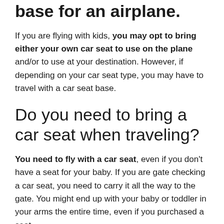base for an airplane.
If you are flying with kids, you may opt to bring either your own car seat to use on the plane and/or to use at your destination. However, if depending on your car seat type, you may have to travel with a car seat base.
Do you need to bring a car seat when traveling?
You need to fly with a car seat, even if you don't have a seat for your baby. If you are gate checking a car seat, you need to carry it all the way to the gate. You might end up with your baby or toddler in your arms the entire time, even if you purchased a seat.